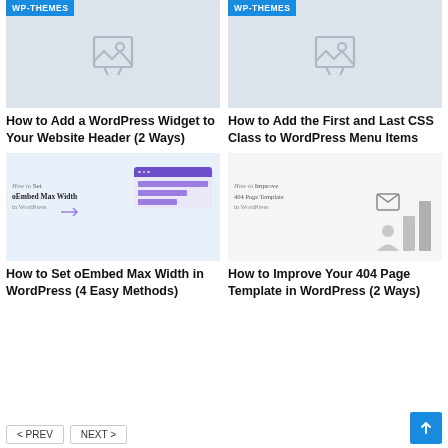[Figure (screenshot): Blog card grid with 4 WordPress theme articles, each showing a thumbnail image with WP-THEMES badge and article title]
How to Add a WordPress Widget to Your Website Header (2 Ways)
How to Add the First and Last CSS Class to WordPress Menu Items
How to Set oEmbed Max Width in WordPress (4 Easy Methods)
How to Improve Your 404 Page Template in WordPress (2 Ways)
< PREV   NEXT >